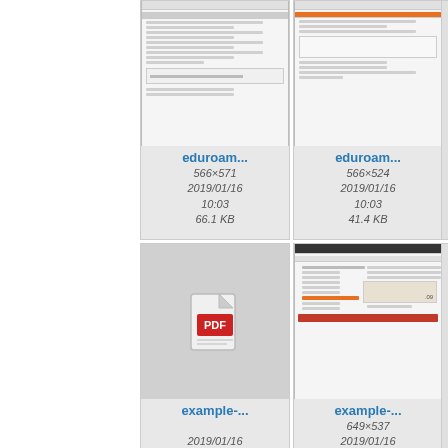[Figure (screenshot): Thumbnail of eduroam configuration screenshot (566x571)]
eduroam...
566×571
2019/01/16
10:03
66.1 KB
[Figure (screenshot): Thumbnail of eduroam configuration screenshot (566x524)]
eduroam...
566×524
2019/01/16
10:03
41.4 KB
[Figure (screenshot): Partially visible third thumbnail]
[Figure (other): PDF file icon thumbnail for example- file]
example-...
2019/01/16
10:03
446.2 KB
[Figure (screenshot): Thumbnail of example- screenshot (649x537)]
example-...
649×537
2019/01/16
10:03
77.4 KB
[Figure (screenshot): Partially visible third bottom-left thumbnail]
[Figure (screenshot): Partially visible bottom-middle thumbnail]
[Figure (screenshot): Partially visible bottom-right thumbnail]